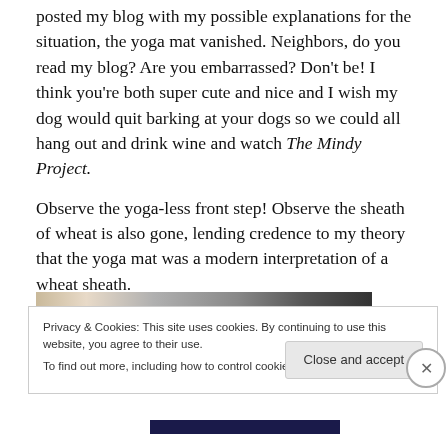posted my blog with my possible explanations for the situation, the yoga mat vanished.  Neighbors, do you read my blog? Are you embarrassed? Don't be! I think you're both super cute and nice and I wish my dog would quit barking at your dogs so we could all hang out and drink wine and watch The Mindy Project.

Observe the yoga-less front step!  Observe the sheath of wheat is also gone, lending credence to my theory that the yoga mat was a modern interpretation of a wheat sheath.
[Figure (photo): Partial photo of a front step/door area, mostly obscured by cookie consent banner]
Privacy & Cookies: This site uses cookies. By continuing to use this website, you agree to their use.
To find out more, including how to control cookies, see here: Cookie Policy
Close and accept